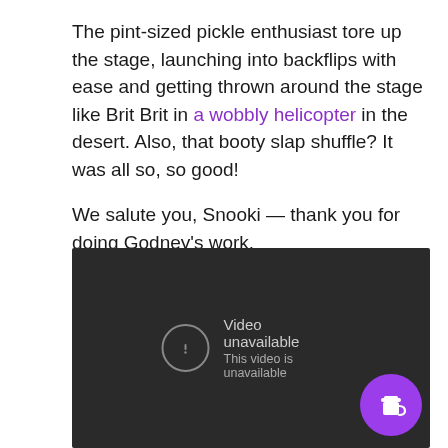The pint-sized pickle enthusiast tore up the stage, launching into backflips with ease and getting thrown around the stage like Brit Brit in a wobbly helicopter in the desert. Also, that booty slap shuffle? It was all so, so good!

We salute you, Snooki — thank you for doing Godney's work.
[Figure (screenshot): Embedded YouTube video player showing 'Video unavailable — This video is unavailable' error message on a dark background, with a circular info/error icon on the left and a purple coffee-cup button overlay in the bottom-right corner.]